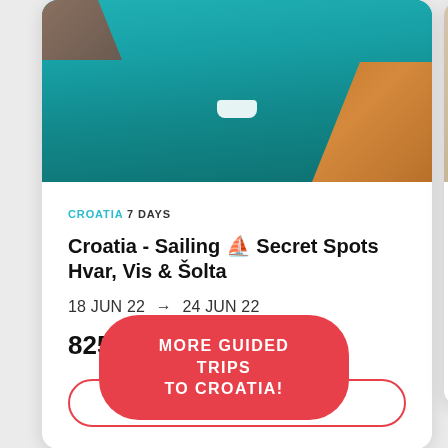[Figure (photo): Aerial view of teal blue water with a white boat, pier on left and rocky cliff on right]
CROATIA 7 DAYS
Croatia - Sailing ⛵ Secret Spots Hvar, Vis & Šolta
18 JUN 22 → 24 JUN 22
825€
CHAT WITH RIAZ
[Figure (photo): Partial view of sandy rocky landscape]
CROATIA 7
Sunny
07 AUG
1,188€
MORE GUIDED TRIPS TO CROATIA!